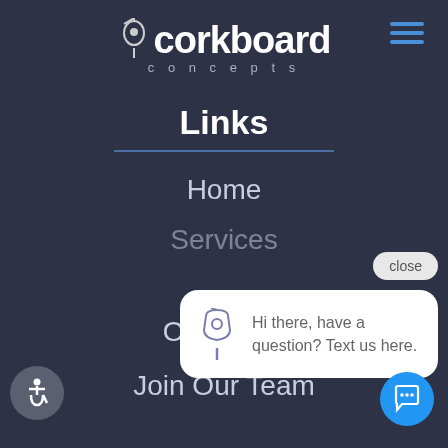[Figure (logo): Corkboard Concepts logo with pushpin icon, large white bold text 'corkboard' and smaller spaced text 'concepts' below]
[Figure (other): Hamburger menu icon with three blue horizontal lines, top right corner]
Links
Home
Services
[Figure (screenshot): Chat popup bubble with pushpin icon and text 'Hi there, have a question? Text us here.' with a 'close' button above it]
Our Team
Join Our Team
[Figure (other): Accessibility icon button (wheelchair symbol) in dark grey circle, bottom left]
[Figure (other): Blue chat trigger button with speech bubble icon, bottom right]